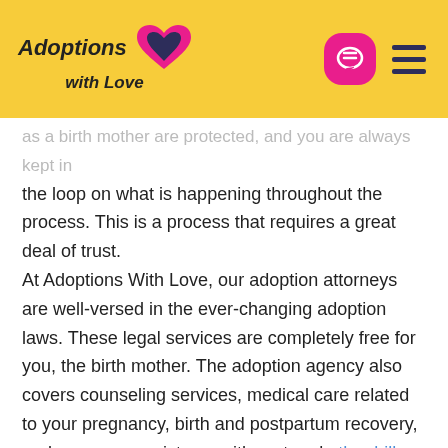Adoptions with Love
as a birth mother are protected, and you are always kept in the loop on what is happening throughout the process. This is a process that requires a great deal of trust. At Adoptions With Love, our adoption attorneys are well-versed in the ever-changing adoption laws. These legal services are completely free for you, the birth mother. The adoption agency also covers counseling services, medical care related to your pregnancy, birth and postpartum recovery, and can even assist you with rent and other bills, as needed.
Cons of Adoption